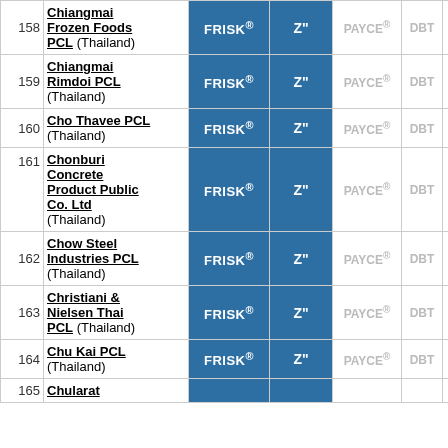| # | Company | FRISK® | Z" | PAYCE® | DBT | Moody's | Fitch |
| --- | --- | --- | --- | --- | --- | --- | --- |
| 158 | Chiangmai Frozen Foods PCL (Thailand) | FRISK® | Z" | PAYCE® | DBT | Moody's | Fitch |
| 159 | Chiangmai Rimdoi PCL (Thailand) | FRISK® | Z" | PAYCE® | DBT | Moody's | Fitch |
| 160 | Cho Thavee PCL (Thailand) | FRISK® | Z" | PAYCE® | DBT | Moody's | Fitch |
| 161 | Chonburi Concrete Product Public Co. Ltd (Thailand) | FRISK® | Z" | PAYCE® | DBT | Moody's | Fitch |
| 162 | Chow Steel Industries PCL (Thailand) | FRISK® | Z" | PAYCE® | DBT | Moody's | Fitch |
| 163 | Christiani & Nielsen Thai PCL (Thailand) | FRISK® | Z" | PAYCE® | DBT | Moody's | Fitch |
| 164 | Chu Kai PCL (Thailand) | FRISK® | Z" | PAYCE® | DBT | Moody's | Fitch |
| 165 | Chularat |  |  |  |  |  |  |